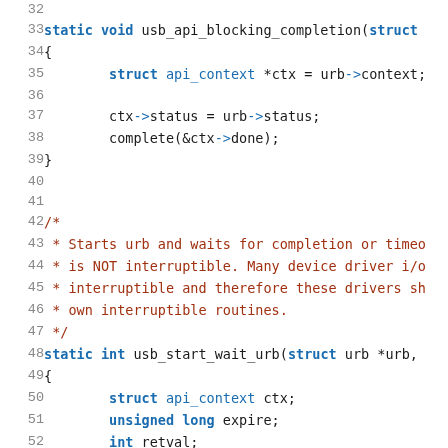Source code listing, lines 32-52, showing usb_api_blocking_completion and usb_start_wait_urb functions with comment block